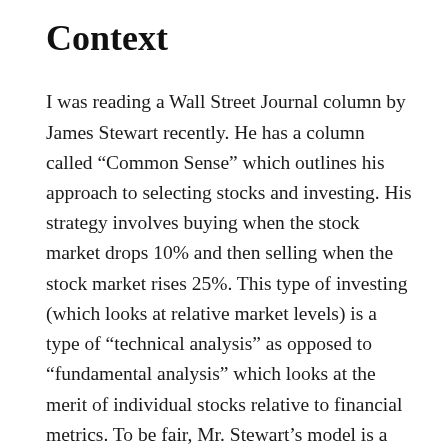Context
I was reading a Wall Street Journal column by James Stewart recently. He has a column called “Common Sense” which outlines his approach to selecting stocks and investing. His strategy involves buying when the stock market drops 10% and then selling when the stock market rises 25%. This type of investing (which looks at relative market levels) is a type of “technical analysis” as opposed to “fundamental analysis” which looks at the merit of individual stocks relative to financial metrics. To be fair, Mr. Stewart’s model is a mix of technical and fundamental analysis, but the (“buy”) and (“sell”) triggers are more technical in